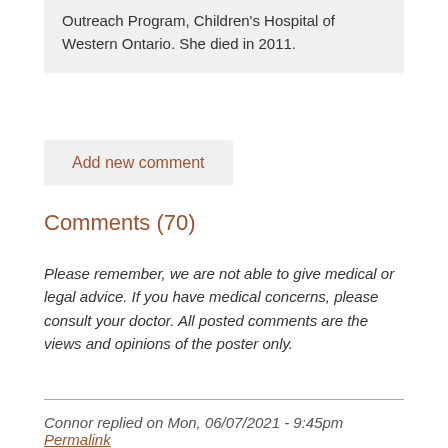Outreach Program, Children's Hospital of Western Ontario. She died in 2011.
Add new comment
Comments (70)
Please remember, we are not able to give medical or legal advice. If you have medical concerns, please consult your doctor. All posted comments are the views and opinions of the poster only.
Connor replied on Mon, 06/07/2021 - 9:45pm Permalink